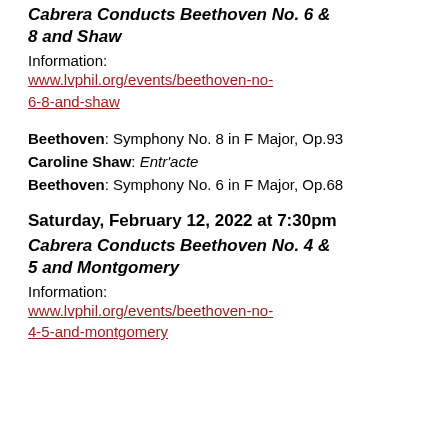Cabrera Conducts Beethoven No. 6 & 8 and Shaw
Information:
www.lvphil.org/events/beethoven-no-6-8-and-shaw
Beethoven: Symphony No. 8 in F Major, Op.93
Caroline Shaw: Entr'acte
Beethoven: Symphony No. 6 in F Major, Op.68
Saturday, February 12, 2022 at 7:30pm
Cabrera Conducts Beethoven No. 4 & 5 and Montgomery
Information:
www.lvphil.org/events/beethoven-no-4-5-and-montgomery